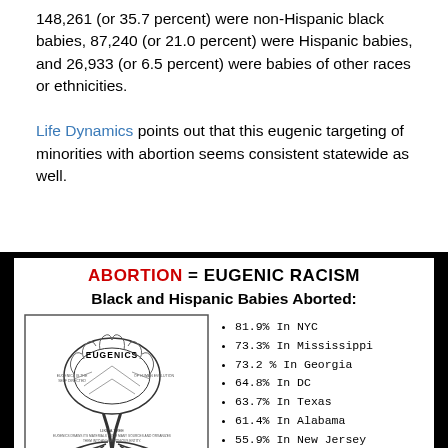148,261 (or 35.7 percent) were non-Hispanic black babies, 87,240 (or 21.0 percent) were Hispanic babies, and 26,933 (or 6.5 percent) were babies of other races or ethnicities.

Life Dynamics points out that this eugenic targeting of minorities with abortion seems consistent statewide as well.
[Figure (infographic): Infographic with title 'ABORTION = EUGENIC RACISM' and subtitle 'Black and Hispanic Babies Aborted:'. Contains a eugenics tree illustration on the left and a bullet list of abortion percentages by location on the right: 81.9% In NYC, 73.3% In Mississippi, 73.2% In Georgia, 64.8% In DC, 63.7% In Texas, 61.4% In Alabama, 55.9% In New Jersey, 55.6% In Virginia.]